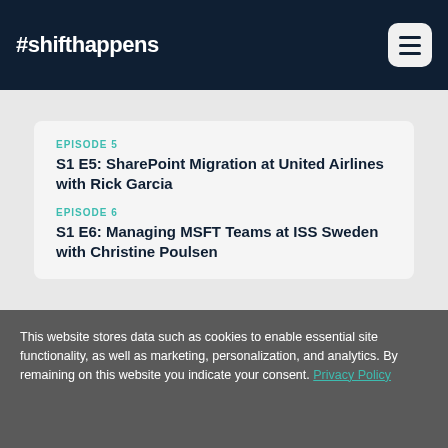#shifthappens
EPISODE 5
S1 E5: SharePoint Migration at United Airlines with Rick Garcia
EPISODE 6
S1 E6: Managing MSFT Teams at ISS Sweden with Christine Poulsen
This website stores data such as cookies to enable essential site functionality, as well as marketing, personalization, and analytics. By remaining on this website you indicate your consent. Privacy Policy